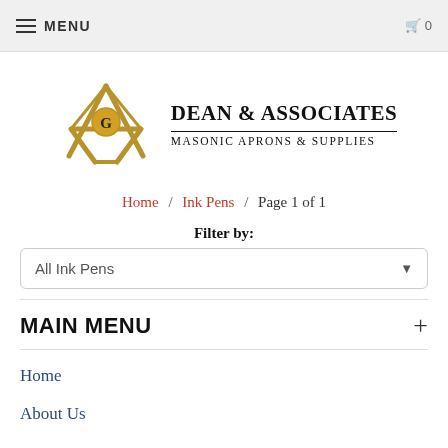MENU
[Figure (logo): Dean & Associates Masonic Aprons & Supplies logo with golden Masonic square and compass symbol]
Home / Ink Pens / Page 1 of 1
Filter by:
All Ink Pens
MAIN MENU
Home
About Us